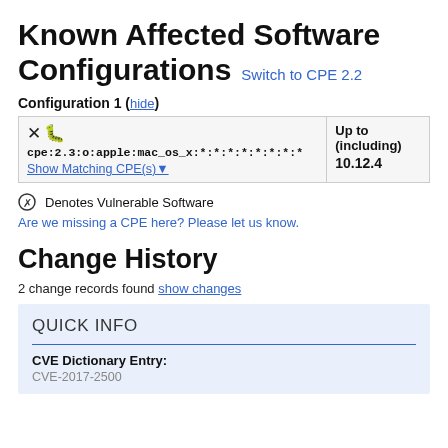Known Affected Software Configurations Switch to CPE 2.2
Configuration 1 ( hide )
|  | Up to (including) |
| --- | --- |
| [bug] cpe:2.3:o:apple:mac_os_x:*:*:*:*:*:*:*:* Show Matching CPE(s) | 10.12.4 |
[bug] Denotes Vulnerable Software
Are we missing a CPE here? Please let us know.
Change History
2 change records found show changes
QUICK INFO
CVE Dictionary Entry:
CVE-2017-2500